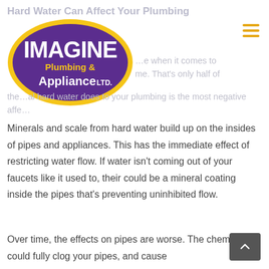Hard Water Can Affect Your Plumbing
[Figure (logo): Imagine Plumbing & Appliance Ltd. logo — purple oval with yellow border, white 'IMAGINE' text, yellow 'Plumbing &' text, white 'Appliance LTD.' text]
Minerals and scale from hard water build up on the insides of pipes and appliances. This has the immediate effect of restricting water flow. If water isn't coming out of your faucets like it used to, their could be a mineral coating inside the pipes that's preventing uninhibited flow.
Over time, the effects on pipes are worse. The chemicals could fully clog your pipes, and cause